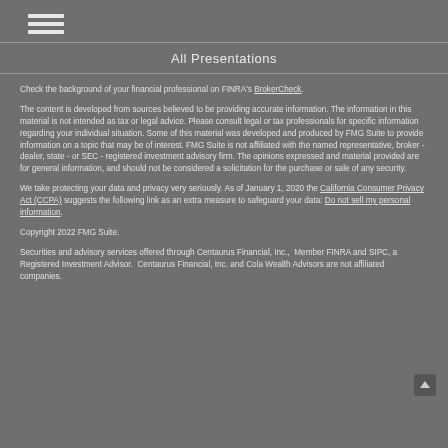All Presentations
Check the background of your financial professional on FINRA's BrokerCheck.
The content is developed from sources believed to be providing accurate information. The information in this material is not intended as tax or legal advice. Please consult legal or tax professionals for specific information regarding your individual situation. Some of this material was developed and produced by FMG Suite to provide information on a topic that may be of interest. FMG Suite is not affiliated with the named representative, broker - dealer, state - or SEC - registered investment advisory firm. The opinions expressed and material provided are for general information, and should not be considered a solicitation for the purchase or sale of any security.
We take protecting your data and privacy very seriously. As of January 1, 2020 the California Consumer Privacy Act (CCPA) suggests the following link as an extra measure to safeguard your data: Do not sell my personal information.
Copyright 2022 FMG Suite.
Securities and advisory services offered through Centaurus Financial, Inc.,  Member FINRA and SIPC, a Registered Investment Advisor.  Centaurus Financial, Inc. and Cola Wealth Advisors are not affiliated companies.